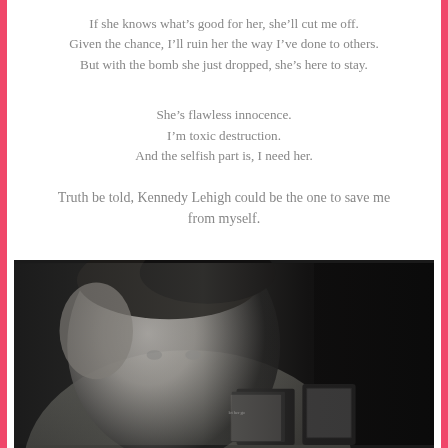If she knows what's good for her, she'll cut me off.
Given the chance, I'll ruin her the way I've done to others.
But with the bomb she just dropped, she's here to stay.
She's flawless innocence.
I'm toxic destruction.
And the selfish part is, I need her.
Truth be told, Kennedy Lehigh could be the one to save me from myself.
[Figure (photo): Black and white photo of a handsome young man with styled dark hair, tattoos on his arm, holding his hand to his head, with book covers visible in the lower portion of the image.]